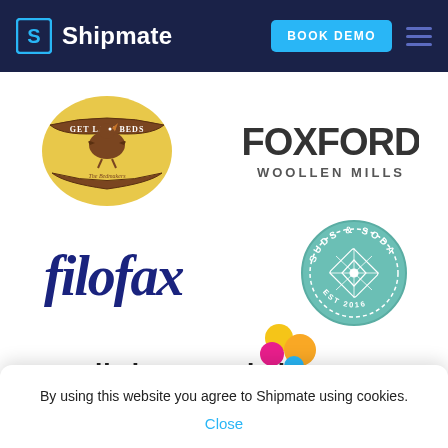Shipmate — BOOK DEMO navigation bar
[Figure (logo): Get Laid Beds logo — circular badge with chicken and banner]
[Figure (logo): Foxford Woollen Mills logo — bold serif text]
[Figure (logo): Filofax logo — italic dark navy text]
[Figure (logo): Suds & Soda logo — circular teal badge with diamond pattern, EST 2016]
[Figure (logo): LivingSocial logo — wordmark with colorful speech bubble dots]
By using this website you agree to Shipmate using cookies.
Close